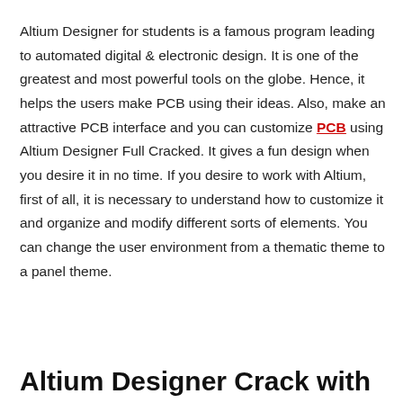Altium Designer for students is a famous program leading to automated digital & electronic design. It is one of the greatest and most powerful tools on the globe. Hence, it helps the users make PCB using their ideas. Also, make an attractive PCB interface and you can customize PCB using Altium Designer Full Cracked. It gives a fun design when you desire it in no time. If you desire to work with Altium, first of all, it is necessary to understand how to customize it and organize and modify different sorts of elements. You can change the user environment from a thematic theme to a panel theme.
Altium Designer Crack with